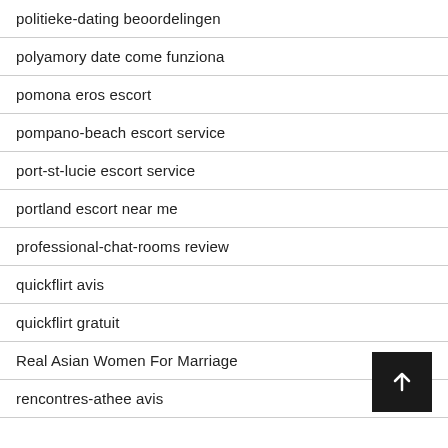politieke-dating beoordelingen
polyamory date come funziona
pomona eros escort
pompano-beach escort service
port-st-lucie escort service
portland escort near me
professional-chat-rooms review
quickflirt avis
quickflirt gratuit
Real Asian Women For Marriage
rencontres-athee avis